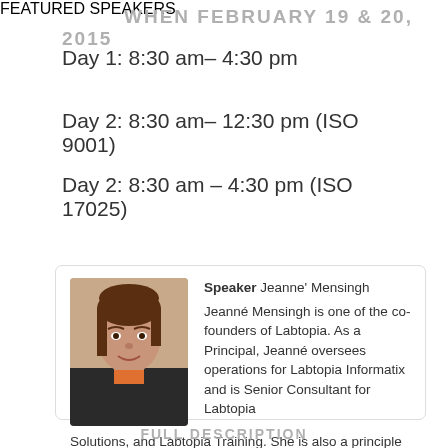WHEN FEBRUARY 19 & 20, 2015
Day 1: 8:30 am– 4:30 pm
Day 2: 8:30 am– 12:30 pm (ISO 9001)
Day 2: 8:30 am – 4:30 pm (ISO 17025)
FEATURED SPEAKERS
Speaker Jeanne' Mensingh
Jeanné Mensingh is one of the co-founders of Labtopia.  As a Principal, Jeanné oversees operations for Labtopia Informatix and is Senior Consultant for Labtopia Solutions, and Labtopia Training.  She is also a principle and co-founder of Labtopia Staffing.  Jeanné has extensive experience in regulated industries and laboratories.  As a subject…
FULL DESCRIPTION